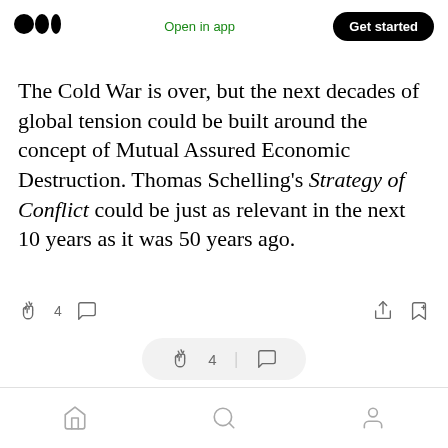Medium logo | Open in app | Get started
The Cold War is over, but the next decades of global tension could be built around the concept of Mutual Assured Economic Destruction. Thomas Schelling's Strategy of Conflict could be just as relevant in the next 10 years as it was 50 years ago.
[Figure (screenshot): Action bar with clap icon (4 claps), comment icon, share icon, and bookmark icon]
[Figure (screenshot): Floating pill-shaped action bar with clap icon, 4 claps, separator, and comment icon]
[Figure (screenshot): Bottom navigation bar with home, search, and profile icons]